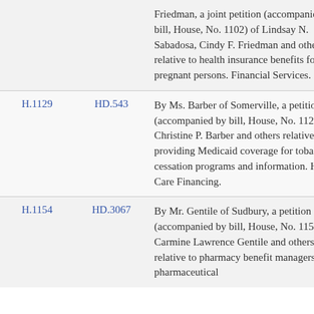| Bill | HD | Description |
| --- | --- | --- |
|  |  | Friedman, a joint petition (accompanied by bill, House, No. 1102) of Lindsay N. Sabadosa, Cindy F. Friedman and others relative to health insurance benefits for pregnant persons. Financial Services. |
| H.1129 | HD.543 | By Ms. Barber of Somerville, a petition (accompanied by bill, House, No. 1129) of Christine P. Barber and others relative to providing Medicaid coverage for tobacco cessation programs and information. Health Care Financing. |
| H.1154 | HD.3067 | By Mr. Gentile of Sudbury, a petition (accompanied by bill, House, No. 1154) of Carmine Lawrence Gentile and others relative to pharmacy benefit managers and pharmaceutical |